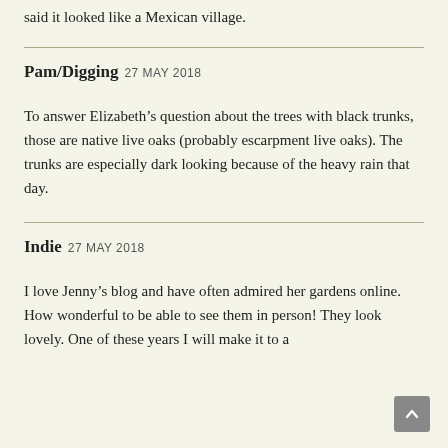said it looked like a Mexican village.
Pam/Digging 27 MAY 2018
To answer Elizabeth’s question about the trees with black trunks, those are native live oaks (probably escarpment live oaks). The trunks are especially dark looking because of the heavy rain that day.
Indie 27 MAY 2018
I love Jenny’s blog and have often admired her gardens online. How wonderful to be able to see them in person! They look lovely. One of these years I will make it to a